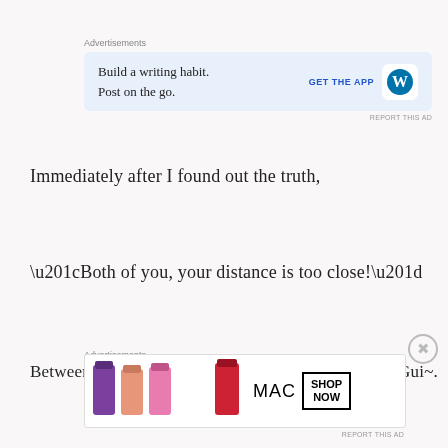Advertisements
[Figure (other): Advertisement banner: Build a writing habit. Post on the go. GET THE APP with WordPress logo]
Immediately after I found out the truth,
“Both of you, your distance is too close!”
Between Elisha and I, Raphie wedged her body in, ~Gui~.
Advertisements
[Figure (other): MAC Cosmetics advertisement with lipsticks and SHOP NOW button]